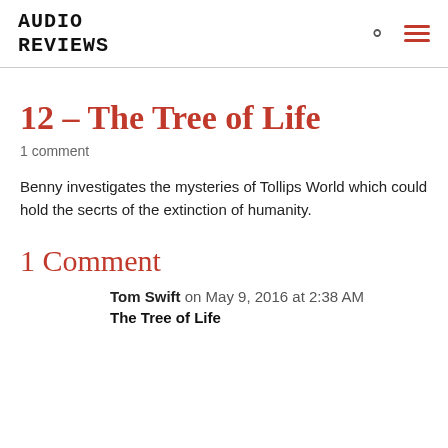AUDIO REVIEWS
12 – The Tree of Life
1 comment
Benny investigates the mysteries of Tollips World which could hold the secrts of the extinction of humanity.
1 Comment
Tom Swift on May 9, 2016 at 2:38 AM
The Tree of Life